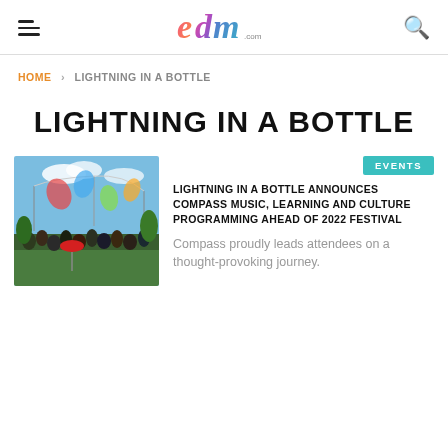EDM.com
HOME > LIGHTNING IN A BOTTLE
LIGHTNING IN A BOTTLE
[Figure (photo): Festival crowd at Lightning in a Bottle with colorful decorations and flags in the sky]
EVENTS
LIGHTNING IN A BOTTLE ANNOUNCES COMPASS MUSIC, LEARNING AND CULTURE PROGRAMMING AHEAD OF 2022 FESTIVAL
Compass proudly leads attendees on a thought-provoking journey.